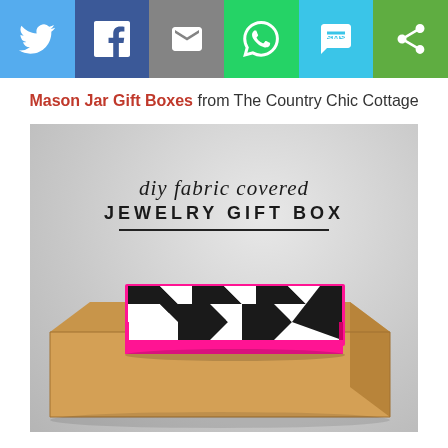[Figure (infographic): Social sharing bar with six buttons: Twitter (blue bird icon), Facebook (blue f icon), Email (grey envelope icon), WhatsApp (green phone icon), SMS (blue speech bubble icon), ShareThis (green circular arrows icon)]
Mason Jar Gift Boxes from The Country Chic Cottage
[Figure (photo): A DIY fabric covered jewelry gift box with black and white chevron zigzag pattern fabric on top with a hot pink/magenta accent edge, sitting on top of a plain kraft brown cardboard box. Background is light grey. Text overlay reads 'diy fabric covered JEWELRY GIFT BOX' in script and bold sans-serif with an underline.]